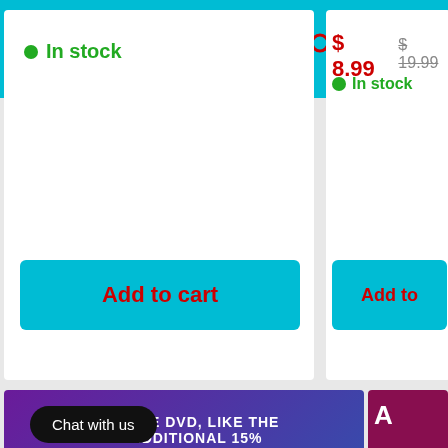BuyCheapDVD - Don't just buy DVD, Buy Cheap DVD with FREE SHIPPING!
In stock
Add to cart
$ 8.99   $ 19.99
In stock
Add to
LIKE THE DVD, LIKE THE PAGE - VE ADDITIONAL 15% OFF YOUR ALREADY LOW PRICE NOW
A
Chat with us